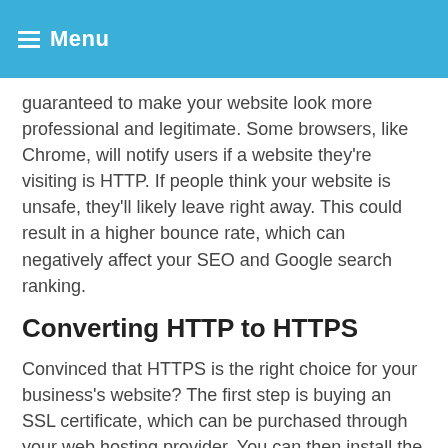Menu
guaranteed to make your website look more professional and legitimate. Some browsers, like Chrome, will notify users if a website they're visiting is HTTP. If people think your website is unsafe, they'll likely leave right away. This could result in a higher bounce rate, which can negatively affect your SEO and Google search ranking.
Converting HTTP to HTTPS
Convinced that HTTPS is the right choice for your business's website? The first step is buying an SSL certificate, which can be purchased through your web hosting provider. You can then install the certificate on your website hosting account. The final steps are setting up a 301 redirect to notify search engines of the change and ensuring that all of your internal links direct